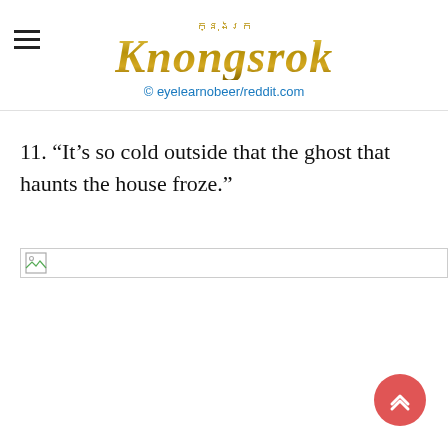Knongsrok — © eyelearnobeer/reddit.com
11. “It’s so cold outside that the ghost that haunts the house froze.”
[Figure (photo): Image placeholder (broken/loading image) for a photo related to item 11]